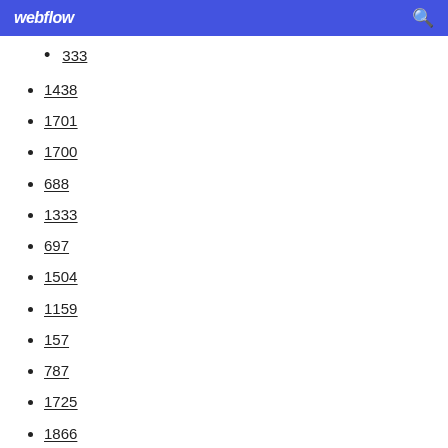webflow
333
1438
1701
1700
688
1333
697
1504
1159
157
787
1725
1866